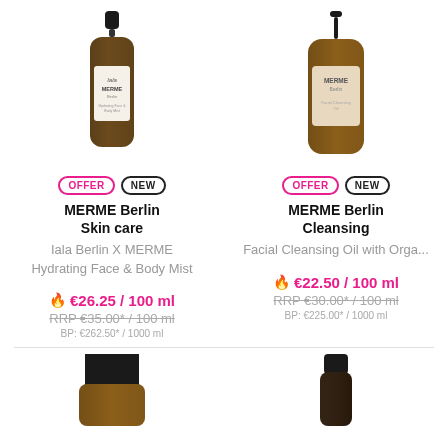[Figure (photo): MERME Berlin spray bottle with label, amber glass, black spray top]
OFFER NEW
MERME Berlin
Skin care
Iala Berlin X MERME Hydrating Face & Body Mist
🔥 €26.25 / 100 ml
RRP €35.00* / 100 ml
BP: €262.50* / 1000 ml
[Figure (photo): MERME Berlin dropper bottle with label, amber glass, black pump top]
OFFER NEW
MERME Berlin
Cleansing
Facial Cleansing Oil with Orga...
🔥 €22.50 / 100 ml
RRP €30.00* / 100 ml
BP: €225.00* / 1000 ml
[Figure (photo): Partial view of amber glass jar with black lid at bottom of page]
[Figure (photo): Partial view of dark bottle at bottom right of page]